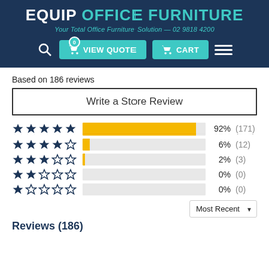[Figure (screenshot): Equip Office Furniture website header with logo, tagline, navigation buttons (View Quote, Cart, hamburger menu)]
Based on 186 reviews
Write a Store Review
[Figure (bar-chart): Star rating distribution]
Most Recent
Reviews (186)